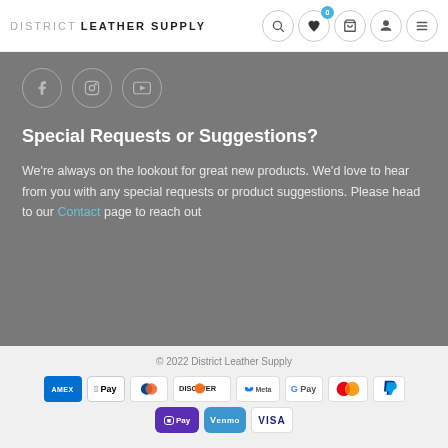DISTRICT LEATHER SUPPLY
[Figure (screenshot): Social media icons: Facebook, Instagram, YouTube in gray circles]
Special Requests or Suggestions?
We're always on the lookout for great new products. We'd love to hear from you with any special requests or product suggestions. Please head to our Contact page to reach out
© 2022 District Leather Supply
[Figure (logo): Payment method logos: Amex, Apple Pay, Diners, Discover, Meta, G Pay, Mastercard, PayPal, Pay, Venmo, Visa]